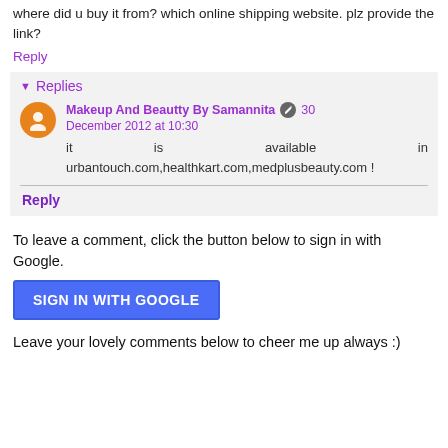where did u buy it from? which online shipping website. plz provide the link?
Reply
Replies
Makeup And Beautty By Samannita 30 December 2012 at 10:30
it is available in urbantouch.com,healthkart.com,medplusbeauty.com !
Reply
To leave a comment, click the button below to sign in with Google.
SIGN IN WITH GOOGLE
Leave your lovely comments below to cheer me up always :)